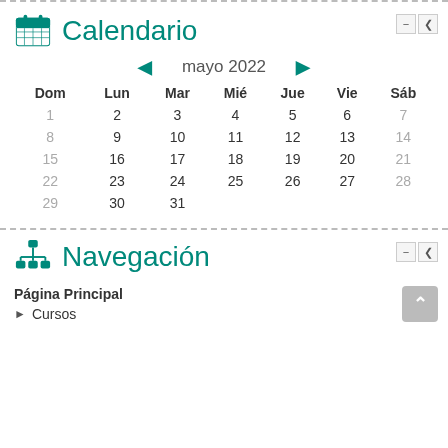Calendario
[Figure (other): Calendar widget showing mayo 2022 with days Dom, Lun, Mar, Mié, Jue, Vie, Sáb and dates 1-31]
Navegación
Página Principal
Cursos